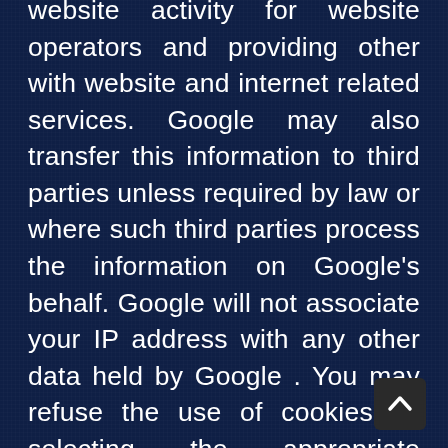website activity for website operators and providing other with website and internet related services. Google may also transfer this information to third parties unless required by law or where such third parties process the information on Google's behalf. Google will not associate your IP address with any other data held by Google . You may refuse the use of cookies by selecting the appropriate settings on your browser, but we point out that you may not be able to use all features of this website in this case . By using this site , you agree to the processing of data about you by Google in the manner described above and for the aforementioned purpose .
[Figure (other): Scroll-to-top button: dark rounded square with upward chevron arrow icon]